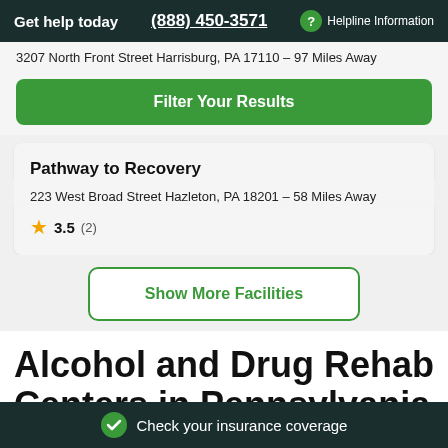Get help today  (888) 450-3571  Helpline Information
3207 North Front Street Harrisburg, PA 17110 - 97 Miles Away
Filter Your Results
Pathway to Recovery
223 West Broad Street Hazleton, PA 18201 - 58 Miles Away
3.5 (2)
Show More Facilities
Alcohol and Drug Rehab Centers in Pennsylvania Cities
Check your insurance coverage